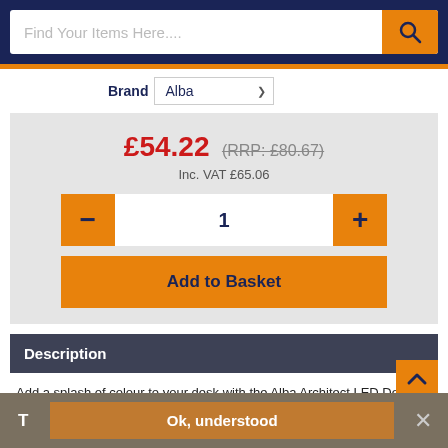[Figure (screenshot): Website navigation bar with search input field reading 'Find Your Items Here....' and an orange search button with magnifying glass icon. Dark navy blue background.]
Brand   Alba
[Figure (screenshot): Product pricing widget on grey background showing price £54.22, RRP £80.67 struck through, Inc. VAT £65.06, quantity selector with minus/plus orange buttons showing 1, and orange Add to Basket button.]
Description
Add a splash of colour to your desk with the Alba Architect LED Desk Lamp, which has a red lamp shade, combining
[Figure (screenshot): Cookie consent bar at bottom with T label, orange 'Ok, understood' button, and an X close button on grey-brown background.]